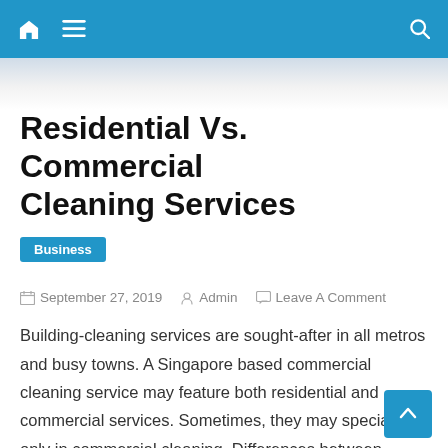Navigation bar with home, menu, and search icons
Residential Vs. Commercial Cleaning Services
Business
September 27, 2019   Admin   Leave A Comment
Building-cleaning services are sought-after in all metros and busy towns. A Singapore based commercial cleaning service may feature both residential and commercial services. Sometimes, they may specialize only in commercial cleaning. Differences between residential and commercial cleaning are vast. Each focuses on different aspects of cleaning. By taking the time to research and evaluate your needs, you can get the perfect cleaning services for